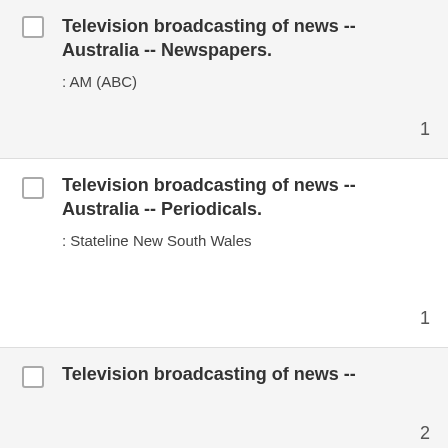Television broadcasting of news -- Australia -- Newspapers. : AM (ABC) 1
Television broadcasting of news -- Australia -- Periodicals. : Stateline New South Wales 1
Television broadcasting of news -- 2